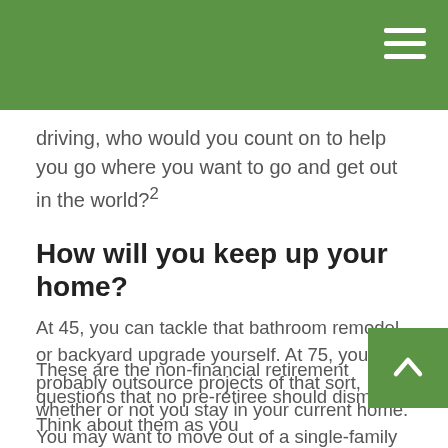driving, who would you count on to help you go where you want to go and get out in the world?²
How will you keep up your home?
At 45, you can tackle that bathroom remodel or backyard upgrade yourself. At 75, you will probably outsource projects of that sort, whether or not you stay in your current home. You may want to move out of a single-family home and into a townhome or condo for retirement. Regardless of the size of your retirement residence, you should expect to fund minor or major repairs, and you may need to find reliable and affordable sources for gardening or landscaping.
These are the non-financial retirement questions that no pre-retiree should dismiss. Think about them as you